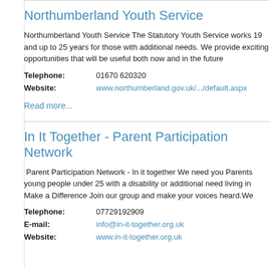Northumberland Youth Service
Northumberland Youth Service The Statutory Youth Service works 19 and up to 25 years for those with additional needs. We provide exciting opportunities that will be useful both now and in the future
Telephone: 01670 620320
Website: www.northumberland.gov.uk/.../default.aspx
Read more...
In It Together - Parent Participation Network
Parent Participation Network - In it together We need you Parents young people under 25 with a disability or additional need living in Make a Difference Join our group and make your voices heard.We
Telephone: 07729192909
E-mail: info@in-it-together.org.uk
Website: www.in-it-together.org.uk